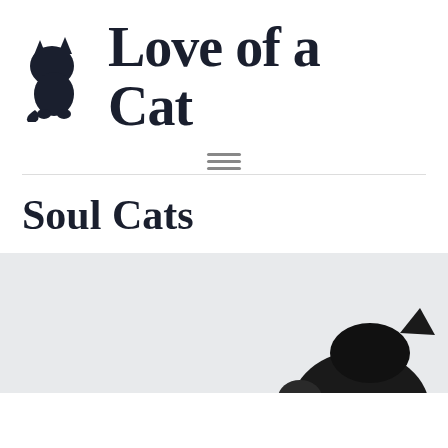[Figure (logo): Black cat silhouette logo sitting upright, positioned to the left of the site title]
Love of a Cat
[Figure (other): Hamburger menu icon — three horizontal lines centered below the title]
Soul Cats
[Figure (photo): Partial photo of a black cat against a light gray/white background, showing the top of the cat's head and back]